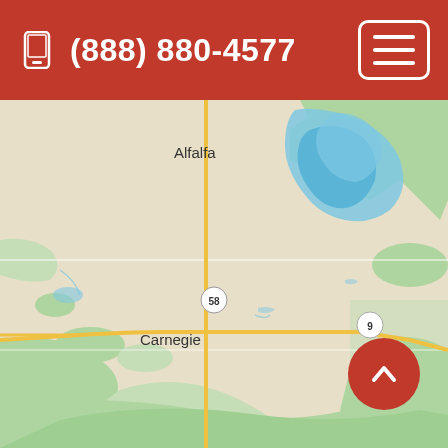(888) 880-4577
[Figure (map): Google Maps view showing Fort Cobb State Park area in Oklahoma. Shows towns of Alfalfa, Carnegie, Fort Cobb, and Albert. Route numbers 58, 9, and 146 are visible. Fort Cobb Lake (blue water body) is visible in the upper right. Green areas indicate parks and vegetation. Roads shown as yellow/gold lines.]